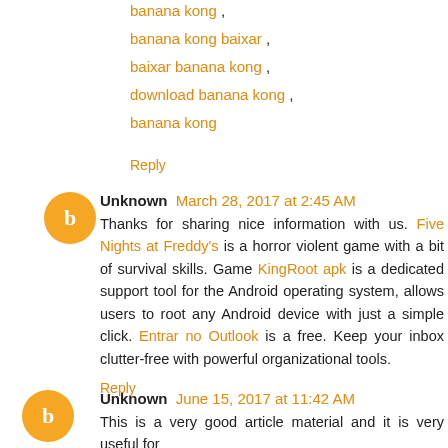banana kong ,
banana kong baixar ,
baixar banana kong ,
download banana kong ,
banana kong
Reply
Unknown March 28, 2017 at 2:45 AM
Thanks for sharing nice information with us. Five Nights at Freddy's is a horror violent game with a bit of survival skills. Game KingRoot apk is a dedicated support tool for the Android operating system, allows users to root any Android device with just a simple click. Entrar no Outlook is a free. Keep your inbox clutter-free with powerful organizational tools.
Reply
Unknown June 15, 2017 at 11:42 AM
This is a very good article material and it is very useful for